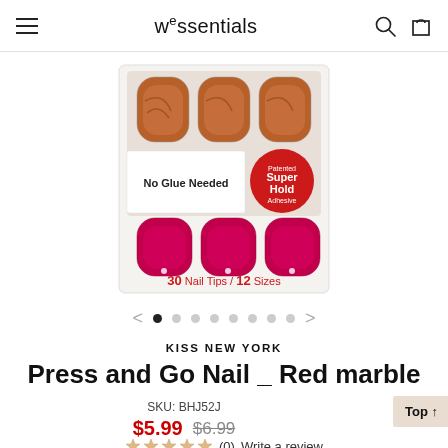wessentials — navigation header with hamburger menu, logo, search and cart icons
[Figure (photo): Product photo of Kiss New York Press and Go Nail press-on nails in Red Marble pattern. Package shows nail tips in clear tray with 'No Glue Needed' label and red 'Patented Super Hold Adhesive' badge. Bottom shows red glittery nails with text '30 Nail Tips / 12 Sizes'.]
< • ○ ○ ○ ○ ○ ○ ○ >
KISS NEW YORK
Press and Go Nail _ Red marble
SKU: BHJ52J
$5.99  $6.99
Top ↑
(0)  Write a review